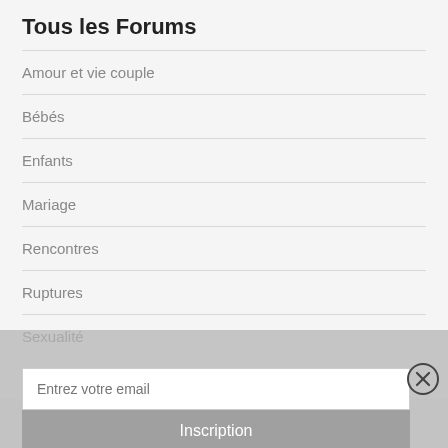Tous les Forums
Amour et vie couple
Bébés
Enfants
Mariage
Rencontres
Ruptures
Sexualité
Les couples en parlent sur le forum
Ne manquez aucun article en vous inscrivant à notre newsletter